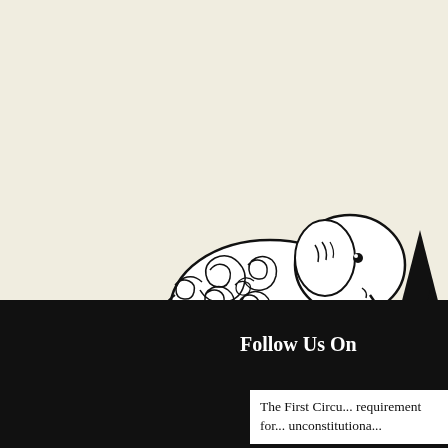[Figure (illustration): Black and white illustration of a decorated elephant with spiral/swirl patterns on its body, standing on a black ground silhouette with pine trees in the background on the right side. The background above is a light cream/off-white color.]
Follow Us On
The First Circu... requirement for... unconstitutiona...